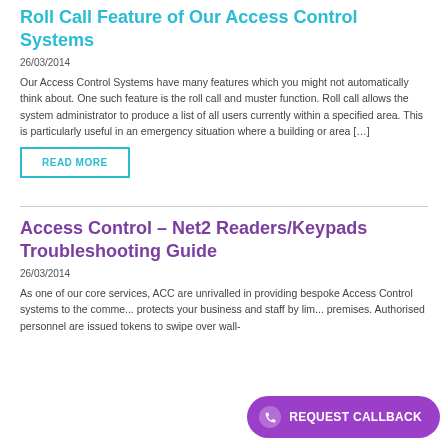Roll Call Feature of Our Access Control Systems
26/03/2014
Our Access Control Systems have many features which you might not automatically think about. One such feature is the roll call and muster function. Roll call allows the system administrator to produce a list of all users currently within a specified area. This is particularly useful in an emergency situation where a building or area […]
READ MORE
Access Control – Net2 Readers/Keypads Troubleshooting Guide
26/03/2014
As one of our core services, ACC are unrivalled in providing bespoke Access Control systems to the comme... protects your business and staff by lim... premises. Authorised personnel are issued tokens to swipe over wall-